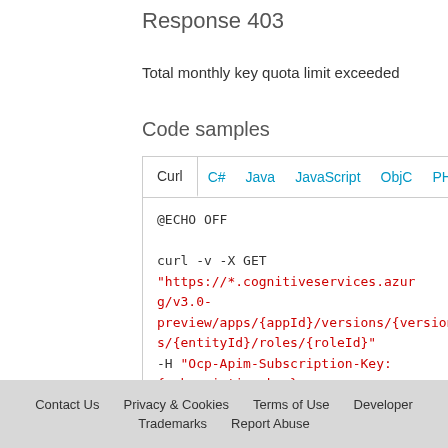Response 403
Total monthly key quota limit exceeded
Code samples
[Figure (screenshot): Code sample box with tabs: Curl (active), C#, Java, JavaScript, ObjC, PHP. Code shown is a Curl command: @ECHO OFF
curl -v -X GET "https://*.cognitiveservices.azure.../g/v3.0-preview/apps/{appId}/versions/{versionId}...s/{entityId}/roles/{roleId}"
-H "Ocp-Apim-Subscription-Key: {subscription key}"
--data-ascii "{body}"]
Contact Us   Privacy & Cookies   Terms of Use   Developer   Trademarks   Report Abuse